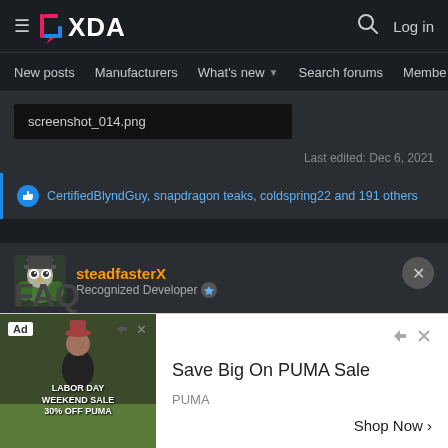XDA Developers — New posts | Manufacturers | What's new | Search forums | Members
[Figure (screenshot): Attachment file labeled screenshot_014.png in a dark box]
Last edited: Dec 6, 2021
👍 CertifiedBlyndGuy, snapdragon teaks, coldspring22 and 191 others
steadfasterX — Recognized Developer
[Figure (screenshot): Ad overlay: Save Big On PUMA Sale — PUMA — Shop Now. Labor Day Weekend Sale 30% off PUMA image.]